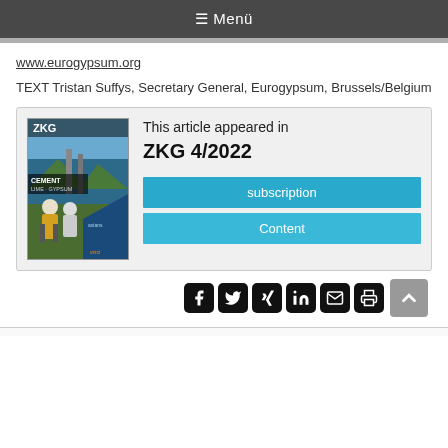≡ Menü
www.eurogypsum.org
TEXT Tristan Suffys, Secretary General, Eurogypsum, Brussels/Belgium
[Figure (other): Magazine cover box showing ZKG Cement Lime Gypsum journal issue with photo of construction workers, with text 'This article appeared in ZKG 4/2022' and two buttons: subscription and Content]
[Figure (other): Social media icon buttons: Facebook, Twitter, Xing, LinkedIn, Email, Print; and a scroll-to-top button]